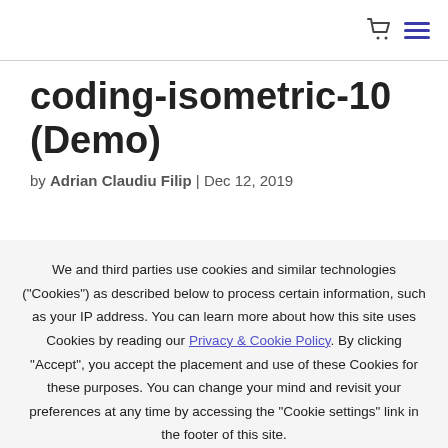[cart icon] [menu icon]
coding-isometric-10 (Demo)
by Adrian Claudiu Filip | Dec 12, 2019
We and third parties use cookies and similar technologies ("Cookies") as described below to process certain information, such as your IP address. You can learn more about how this site uses Cookies by reading our Privacy & Cookie Policy. By clicking "Accept", you accept the placement and use of these Cookies for these purposes. You can change your mind and revisit your preferences at any time by accessing the "Cookie settings" link in the footer of this site.
Cookie settings   ACCEPT